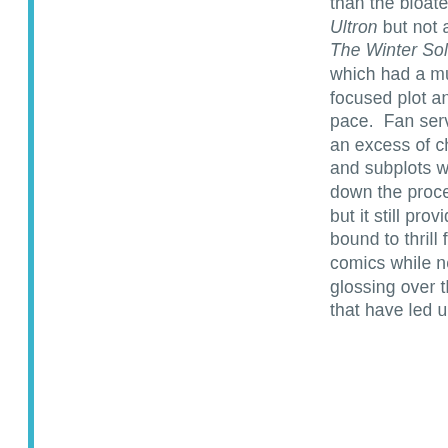than the bloated Age of Ultron but not as good as The Winter Soldier, which had a much more focused plot and tighter pace.  Fan service and an excess of characters and subplots weighs down the proceedings, but it still provides plenty bound to thrill fans of the comics while not glossing over the events that have led up